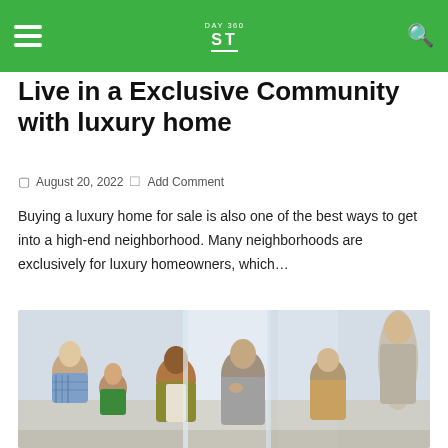ST | DAY 360
Live in a Exclusive Community with luxury home
August 20, 2022   Add Comment
Buying a luxury home for sale is also one of the best ways to get into a high-end neighborhood. Many neighborhoods are exclusively for luxury homeowners, which…
[Figure (photo): Group of people sitting in a circle having a discussion, indoor setting with bright background windows]